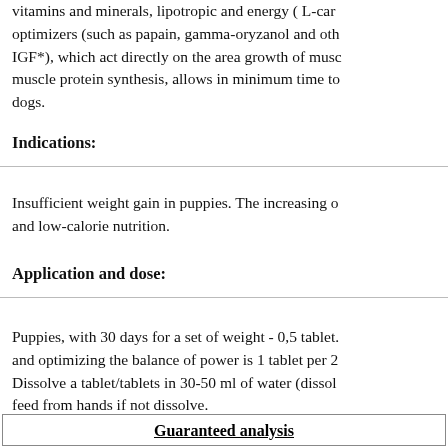vitamins and minerals, lipotropic and energy (L-car... optimizers (such as papain, gamma-oryzanol and oth... IGF*), which act directly on the area growth of musc... muscle protein synthesis, allows in minimum time to... dogs.
Indications:
Insufficient weight gain in puppies. The increasing o... and low-calorie nutrition.
Application and dose:
Puppies, with 30 days for a set of weight - 0,5 tablet.... and optimizing the balance of power is 1 tablet per 2... Dissolve a tablet/tablets in 30-50 ml of water (dissol... feed from hands if not dissolve.
| Guaranteed analysis |
| --- |